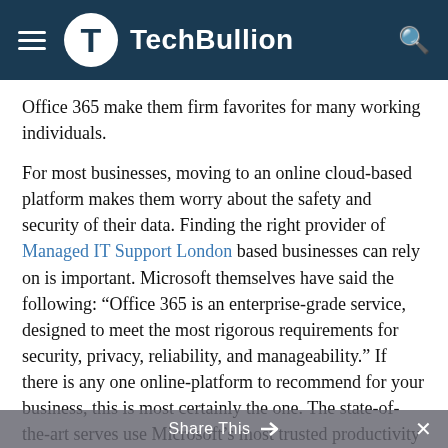TechBullion
Office 365 make them firm favorites for many working individuals.
For most businesses, moving to an online cloud-based platform makes them worry about the safety and security of their data. Finding the right provider of Managed IT Support London based businesses can rely on is important. Microsoft themselves have said the following: “Office 365 is an enterprise-grade service, designed to meet the most rigorous requirements for security, privacy, reliability, and manageability.” If there is any one online-platform to recommend for your business, this is most certainly the one. The state-of-the-art serves use Microsoft’s most trusted productivity solutions—Microsoft Exchange Online, Microsoft SharePoint® Online, and Microsoft Lync™ Online – so you can rest assured your data is always safe